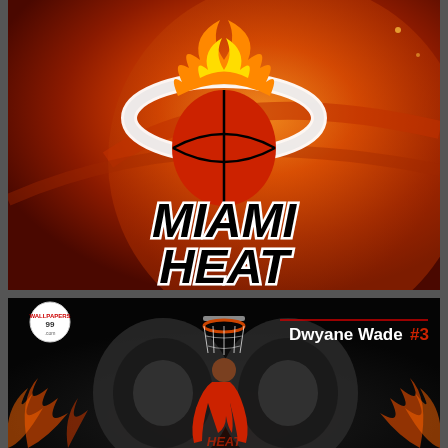[Figure (logo): Miami Heat NBA team logo on an orange-red background with a basketball texture. The logo features a flaming basketball with a white oval halo, and bold italic 'MIAMI HEAT' text in black with white outline below.]
[Figure (photo): Dwyane Wade basketball player wallpaper with dark background and orange flame effects. Shows a player dunking near a basketball hoop. Text reads 'Dwyane Wade #3' in the upper right. Watermark 'WALLPAPERS99.com' in the upper left.]